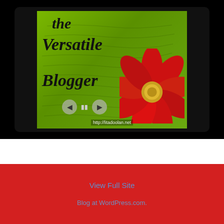[Figure (screenshot): A slideshow widget showing 'The Versatile Blogger' award image on a green textured background with script handwriting, decorated with a red flower, navigation controls (back, pause, forward), and URL http://litadoolan.net overlaid at the bottom. The slideshow frame has a dark/black rounded border.]
View Full Site
Blog at WordPress.com.